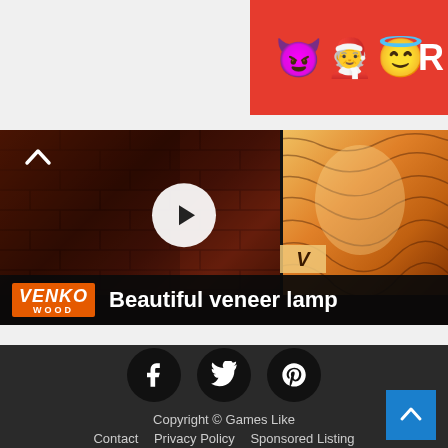[Figure (illustration): Advertisement banner with emoji characters (devil, angel person, halo face) on red background with letter R on right side]
[Figure (screenshot): Video player thumbnail showing brick wall on left and illuminated wooden veneer lamp on right, with white play button in center. VENKO WOOD logo and title 'Beautiful veneer lamp' on dark bar at bottom.]
Copyright © Games Like
Contact  Privacy Policy  Sponsored Listing